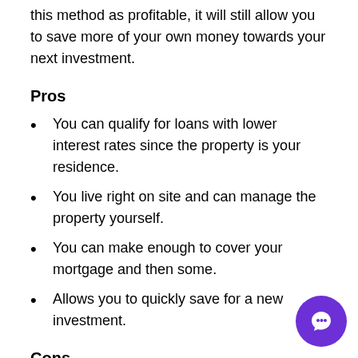this method as profitable, it will still allow you to save more of your own money towards your next investment.
Pros
You can qualify for loans with lower interest rates since the property is your residence.
You live right on site and can manage the property yourself.
You can make enough to cover your mortgage and then some.
Allows you to quickly save for a new investment.
Cons
Requires you to purchase a more expensive